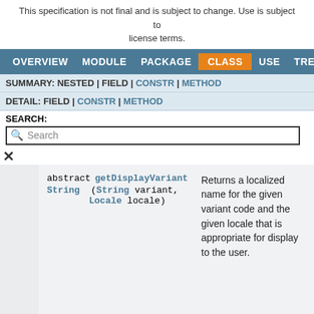This specification is not final and is subject to change. Use is subject to license terms.
OVERVIEW  MODULE  PACKAGE  CLASS  USE  TREE
SUMMARY: NESTED | FIELD | CONSTR | METHOD
DETAIL: FIELD | CONSTR | METHOD
SEARCH:
Search
abstract getDisplayVariant String (String variant, Locale locale)
Returns a localized name for the given variant code and the given locale that is appropriate for display to the user.